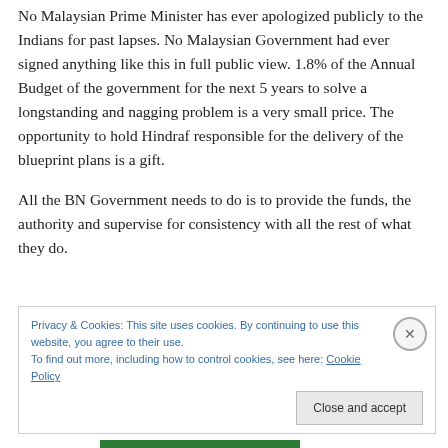No Malaysian Prime Minister has ever apologized publicly to the Indians for past lapses. No Malaysian Government had ever signed anything like this in full public view. 1.8% of the Annual Budget of the government for the next 5 years to solve a longstanding and nagging problem is a very small price. The opportunity to hold Hindraf responsible for the delivery of the blueprint plans is a gift.
All the BN Government needs to do is to provide the funds, the authority and supervise for consistency with all the rest of what they do.
Privacy & Cookies: This site uses cookies. By continuing to use this website, you agree to their use. To find out more, including how to control cookies, see here: Cookie Policy